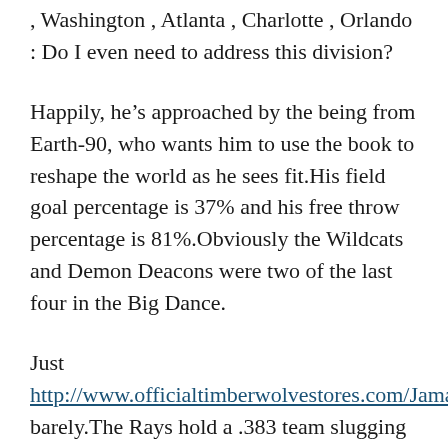, Washington , Atlanta , Charlotte , Orlando : Do I even need to address this division?
Happily, he’s approached by the being from Earth-90, who wants him to use the book to reshape the world as he sees fit.His field goal percentage is 37% and his free throw percentage is 81%.Obviously the Wildcats and Demon Deacons were two of the last four in the Big Dance.
Just http://www.officialtimberwolvestores.com/Jamal_Crawford_Jersey barely.The Rays hold a .383 team slugging percentage and an on-base percentage of .290 which is good for 30th in